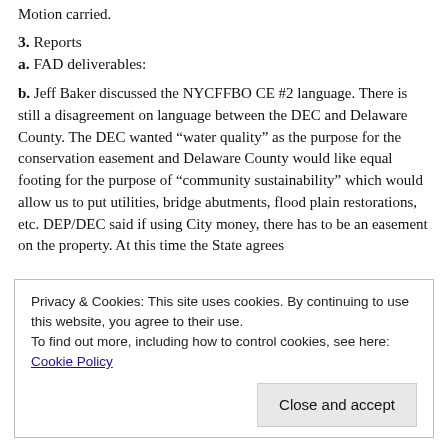Motion carried.
3. Reports
a. FAD deliverables:
b. Jeff Baker discussed the NYCFFBO CE #2 language. There is still a disagreement on language between the DEC and Delaware County. The DEC wanted “water quality” as the purpose for the conservation easement and Delaware County would like equal footing for the purpose of “community sustainability” which would allow us to put utilities, bridge abutments, flood plain restorations, etc. DEP/DEC said if using City money, there has to be an easement on the property. At this time the State agrees
Privacy & Cookies: This site uses cookies. By continuing to use this website, you agree to their use.
To find out more, including how to control cookies, see here: Cookie Policy